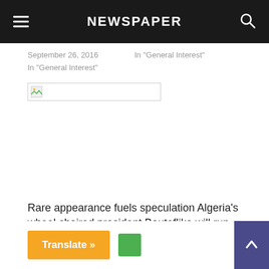NEWSPAPER
September 26, 2016
In "General Interest"
In "General Interest"
[Figure (photo): Broken image placeholder with small image icon]
Rare appearance fuels speculation Algeria's wheel chaired president Bouteflika will run again
April 11, 2018
In "General Interest"
Translate »